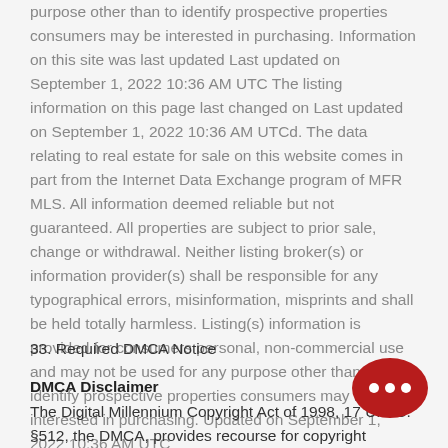purpose other than to identify prospective properties consumers may be interested in purchasing. Information on this site was last updated Last updated on September 1, 2022 10:36 AM UTC The listing information on this page last changed on Last updated on September 1, 2022 10:36 AM UTCd. The data relating to real estate for sale on this website comes in part from the Internet Data Exchange program of MFR MLS. All information deemed reliable but not guaranteed. All properties are subject to prior sale, change or withdrawal. Neither listing broker(s) or information provider(s) shall be responsible for any typographical errors, misinformation, misprints and shall be held totally harmless. Listing(s) information is provided for consumers personal, non-commercial use and may not be used for any purpose other than to identify prospective properties consumers may be interested in purchasing. Updated on September 1, 2022 10:36 AM UTC
33. Required DMCA Notice
DMCA Disclaimer
The Digital Millennium Copyright Act of 1998, 17 U.S.C. §512, the DMCA, provides recourse for copyright owners who believe that